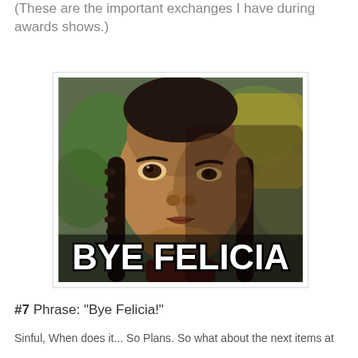(These are the important exchanges I have during awards shows.)
[Figure (photo): Meme image of a young woman with braids looking sideways, with bold white text reading 'BYE FELICIA' at the bottom]
#7  Phrase: "Bye Felicia!"
Sinful, When does it... So Plans. So what about the next items at